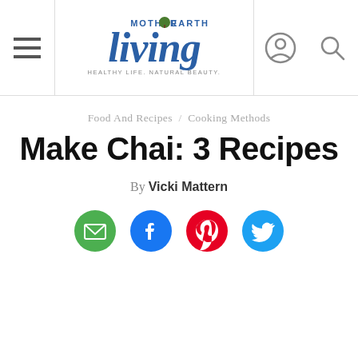Mother Earth Living — Healthy Life. Natural Beauty.
Food And Recipes / Cooking Methods
Make Chai: 3 Recipes
By Vicki Mattern
[Figure (infographic): Social sharing icons: email (green circle), Facebook (blue circle), Pinterest (red circle), Twitter (blue circle)]